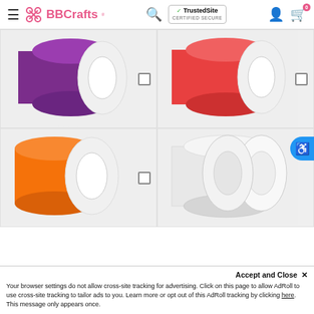BBCrafts - TrustedSite Certified Secure
[Figure (photo): Purple satin ribbon roll on white background]
[Figure (photo): Red/coral satin ribbon roll on white background]
[Figure (photo): Orange satin ribbon roll on white background]
[Figure (photo): White grosgrain ribbon roll on white background]
Accept and Close ×
Your browser settings do not allow cross-site tracking for advertising. Click on this page to allow AdRoll to use cross-site tracking to tailor ads to you. Learn more or opt out of this AdRoll tracking by clicking here. This message only appears once.